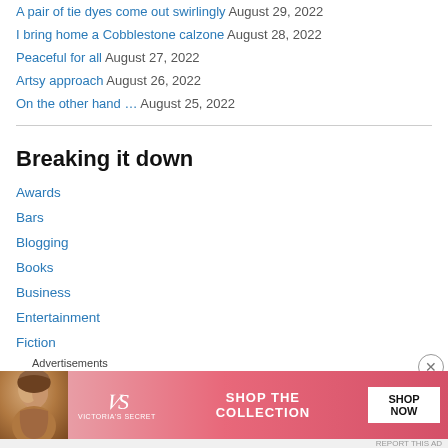A pair of tie dyes come out swirlingly August 29, 2022
I bring home a Cobblestone calzone August 28, 2022
Peaceful for all August 27, 2022
Artsy approach August 26, 2022
On the other hand … August 25, 2022
Breaking it down
Awards
Bars
Blogging
Books
Business
Entertainment
Fiction
Food
[Figure (infographic): Victoria's Secret advertisement banner with model, VS logo, 'SHOP THE COLLECTION' text, and 'SHOP NOW' button on pink gradient background]